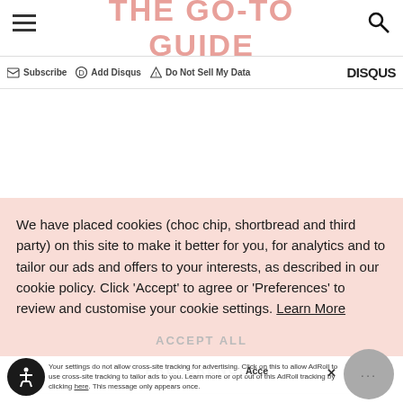THE GO-TO GUIDE
Subscribe   Add Disqus   Do Not Sell My Data   DISQUS
We have placed cookies (choc chip, shortbread and third party) on this site to make it better for you, for analytics and to tailor our ads and offers to your interests, as described in our cookie policy. Click 'Accept' to agree or 'Preferences' to review and customise your cookie settings. Learn More
PREFERENCES
ACCEPT ALL
Your settings do not allow cross-site tracking for advertising. Click on this to allow AdRoll to use cross-site tracking to tailor ads to you. Learn more or opt out of this AdRoll tracking by clicking here. This message only appears once.